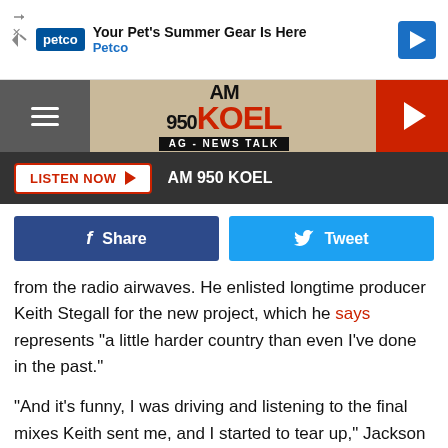[Figure (other): Petco advertisement banner with logo, 'Your Pet's Summer Gear Is Here' text, Petco branding, and a blue navigation arrow icon]
[Figure (logo): AM 950 KOEL AG-NEWS TALK radio station logo with hamburger menu icon on left and red play circle on right, on tan/beige background]
[Figure (other): Dark grey bar with white 'LISTEN NOW' button in red border and 'AM 950 KOEL' text in white]
[Figure (other): Social sharing buttons row: dark blue Facebook Share button and light blue Twitter Tweet button]
from the radio airwaves. He enlisted longtime producer Keith Stegall for the new project, which he says represents "a little harder country than even I've done in the past."
"And it's funny, I was driving and listening to the final mixes Keith sent me, and I started to tear up," Jackson shares. "I was surprised to get so overly emotional, but I just love this kind of music."
Jackson teased fans with three new tracks on Friday. "Where